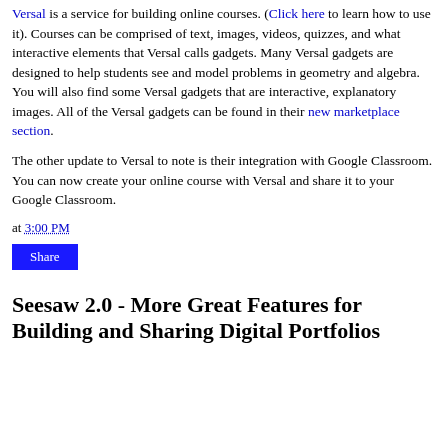Versal is a service for building online courses. (Click here to learn how to use it). Courses can be comprised of text, images, videos, quizzes, and what interactive elements that Versal calls gadgets. Many Versal gadgets are designed to help students see and model problems in geometry and algebra. You will also find some Versal gadgets that are interactive, explanatory images. All of the Versal gadgets can be found in their new marketplace section.
The other update to Versal to note is their integration with Google Classroom. You can now create your online course with Versal and share it to your Google Classroom.
at 3:00 PM
Share
Seesaw 2.0 - More Great Features for Building and Sharing Digital Portfolios